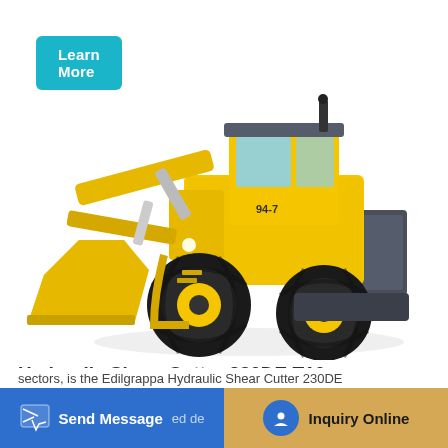Learn More
[Figure (photo): A large yellow wheel loader / front-end loader (construction machinery) with a front bucket/shovel attachment, black tires, and dark grey rear ballast weight. The machine is shown at a three-quarter angle on a white background. Branding text '94-7' is visible on the body.]
Hydraulic Shear Cutter 230DE T10 - Edilgrappa
Send Message
Inquiry Online
sectors, is the Edilgrappa Hydraulic Shear Cutter 230DE